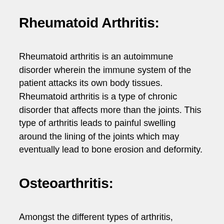Rheumatoid Arthritis:
Rheumatoid arthritis is an autoimmune disorder wherein the immune system of the patient attacks its own body tissues. Rheumatoid arthritis is a type of chronic disorder that affects more than the joints. This type of arthritis leads to painful swelling around the lining of the joints which may eventually lead to bone erosion and deformity.
Osteoarthritis:
Amongst the different types of arthritis, Osteoarthritis is the most commonly occurring